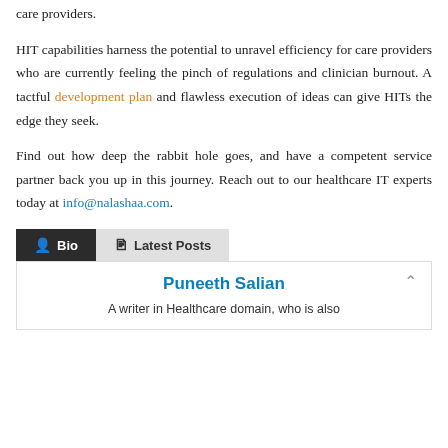care providers.
HIT capabilities harness the potential to unravel efficiency for care providers who are currently feeling the pinch of regulations and clinician burnout. A tactful development plan and flawless execution of ideas can give HITs the edge they seek.
Find out how deep the rabbit hole goes, and have a competent service partner back you up in this journey. Reach out to our healthcare IT experts today at info@nalashaa.com.
Bio | Latest Posts
Puneeth Salian
A writer in Healthcare domain, who is also